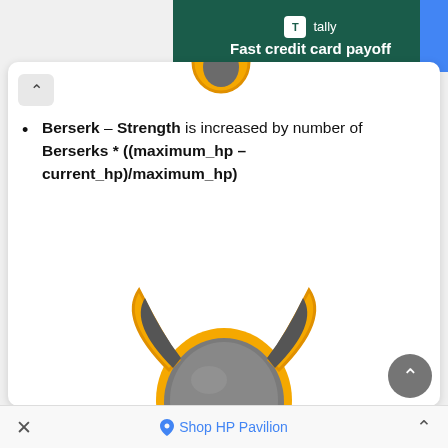[Figure (screenshot): Tally app advertisement banner: green background with Tally logo and text 'Fast credit card payoff']
Berserk – Strength is increased by number of Berserks * ((maximum_hp – current_hp)/maximum_hp)
[Figure (illustration): 3D game character with a yellow body and gray viking helmet with horns, partially visible from the waist up]
× Shop HP Pavilion ^